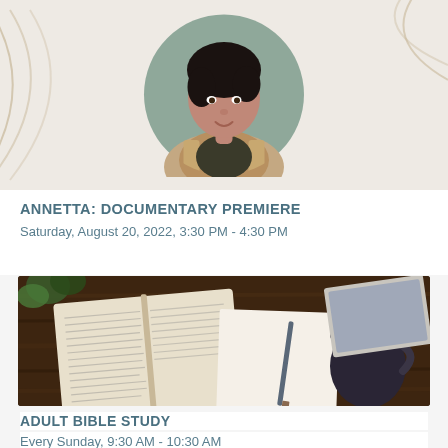[Figure (photo): Circular portrait photo of a young person with short dark hair wearing a fringe/bohemian style jacket, against a blurred gray-green background. Decorative curved arc lines visible on left and top-right of the card.]
ANNETTA: DOCUMENTARY PREMIERE
Saturday, August 20, 2022, 3:30 PM - 4:30 PM
[Figure (photo): Overhead/flat-lay photo of an open Bible on a wooden table, with a blank notepad and pen, a dark mug of coffee, and a laptop partially visible in the background. Some greenery visible in top-left corner.]
ADULT BIBLE STUDY
Every Sunday, 9:30 AM - 10:30 AM